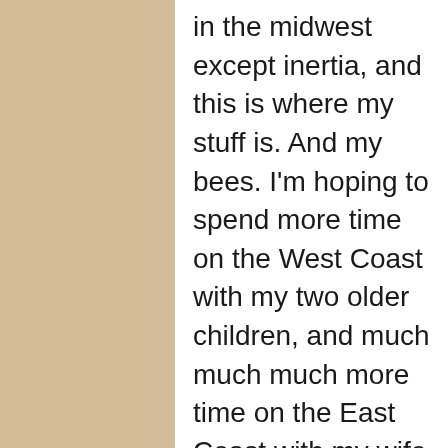in the midwest except inertia, and this is where my stuff is. And my bees. I'm hoping to spend more time on the West Coast with my two older children, and much much much more time on the East Coast with my wife, when she finishes her 2017 and things are